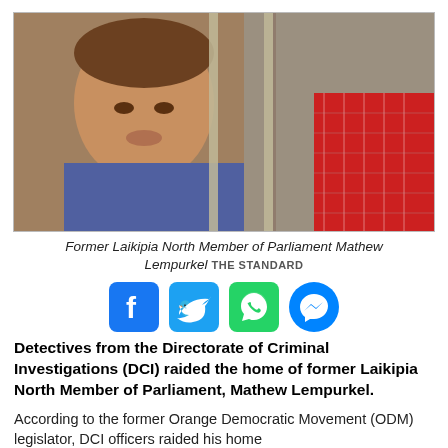[Figure (photo): Former Laikipia North Member of Parliament Mathew Lempurkel photographed behind bars]
Former Laikipia North Member of Parliament Mathew Lempurkel  THE STANDARD
[Figure (infographic): Social media sharing icons: Facebook, Twitter, WhatsApp, Messenger]
Detectives from the Directorate of Criminal Investigations (DCI) raided the home of former Laikipia North Member of Parliament, Mathew Lempurkel.
According to the former Orange Democratic Movement (ODM) legislator, DCI officers raided his home